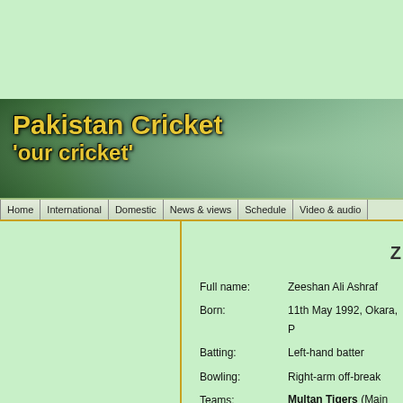[Figure (screenshot): Pakistan Cricket website banner with crowd background and yellow bold text reading 'Pakistan Cricket' and ''our cricket'']
Home | International | Domestic | News & views | Schedule | Video & audio
Full name: Zeeshan Ali Ashraf
Born: 11th May 1992, Okara, P
Batting: Left-hand batter
Bowling: Right-arm off-break
Teams: Multan Tigers (Main Twe... Multan (Main FC: 2012/1... Multan Tigers (Main Lis... Multan Tigers (Main FC... Multan (Main ListA: 2018... Lahore Whites (Main Tw... Baluchistan (Main ListA... Southern Punjab (Main... Multan Sultans (Main T...